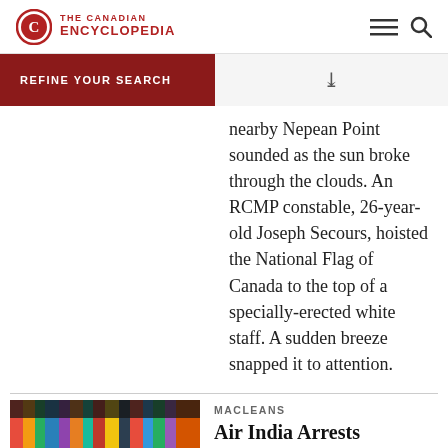THE CANADIAN ENCYCLOPEDIA
REFINE YOUR SEARCH
nearby Nepean Point sounded as the sun broke through the clouds. An RCMP constable, 26-year-old Joseph Secours, hoisted the National Flag of Canada to the top of a specially-erected white staff. A sudden breeze snapped it to attention.
[Figure (photo): Colorful books stacked on a shelf, partially showing a dark strap or jacket]
MACLEANS
Air India Arrests